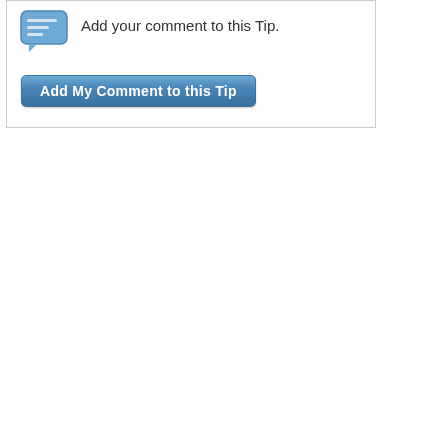[Figure (illustration): Blue chat/comment icon]
Add your comment to this Tip.
Add My Comment to this Tip